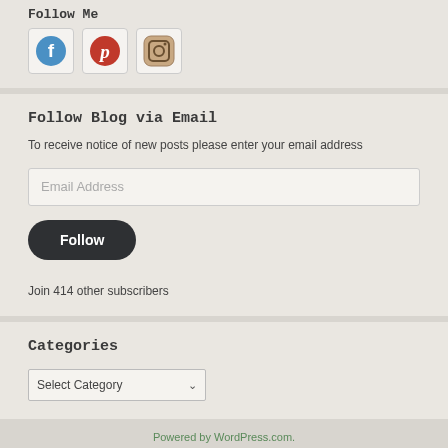Follow Me
[Figure (illustration): Three social media icons: Facebook (blue circle with F), Pinterest (red circle with P), Instagram (camera icon)]
Follow Blog via Email
To receive notice of new posts please enter your email address
Email Address (input field)
Follow (button)
Join 414 other subscribers
Categories
Select Category (dropdown)
Powered by WordPress.com.